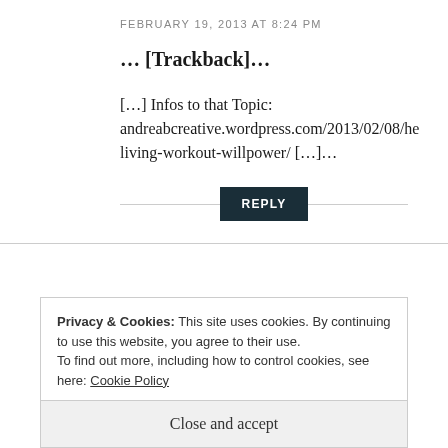FEBRUARY 19, 2013 AT 8:24 PM
… [Trackback]…
[…] Infos to that Topic: andreabcreative.wordpress.com/2013/02/08/he living-workout-willpower/ […]…
REPLY
Privacy & Cookies: This site uses cookies. By continuing to use this website, you agree to their use.
To find out more, including how to control cookies, see here: Cookie Policy
Close and accept